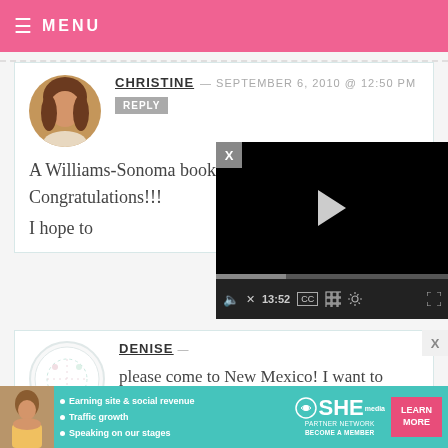MENU
CHRISTINE — SEPTEMBER 6, 2010 @ 12:50 PM
REPLY
A Williams-Sonoma book tour, too?! Congratulations!!!
I hope to
[Figure (screenshot): Video player overlay showing a black video area with a play button triangle, progress bar, and controls showing 13:52, CC, grid, settings, and fullscreen icons]
DENISE —
please come to New Mexico! I want to
[Figure (infographic): SHE Partner Network advertisement banner with teal background, woman photo, bullet points: Earning site & social revenue, Traffic growth, Speaking on our stages, SHE logo, BECOME A MEMBER, LEARN MORE button]